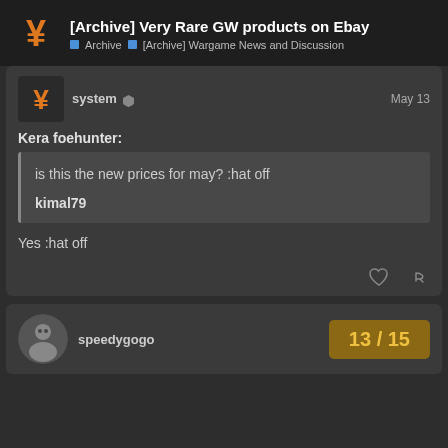[Archive] Very Rare GW products on Ebay — Archive > [Archive] Wargame News and Discussion
system — May 13
Kera foehunter:
is this the new prices for may? :hat off

kimal79
Yes :hat off
speedygogo — 13 / 15